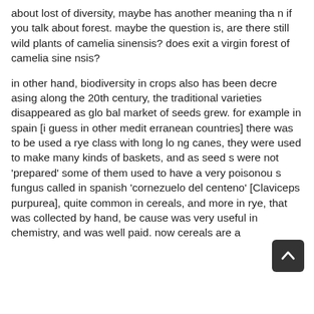about lost of diversity, maybe has another meaning than if you talk about forest. maybe the question is, are there still wild plants of camelia sinensis? does exit a virgin forest of camelia sinensis?
in other hand, biodiversity in crops also has been decreasing along the 20th century, the traditional varieties disappeared as global market of seeds grew. for example in spain [i guess in other mediterranean countries] there was to be used a rye class with long long canes, they were used to make many kinds of baskets, and as seeds were not 'prepared' some of them used to have a very poisonous fungus called in spanish 'cornezuelo del centeno' [Claviceps purpurea], quite common in cereals, and more in rye, that was collected by hand, because was very useful in chemistry, and was well paid. now cereals are a